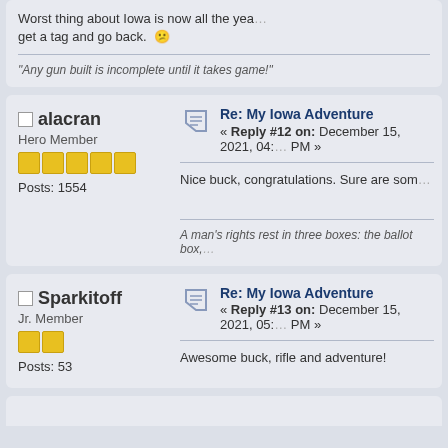Worst thing about Iowa is now all the years I can't get a tag and go back. 😕
"Any gun built is incomplete until it takes game!"
□ alacran
Hero Member
Posts: 1554
Re: My Iowa Adventure
« Reply #12 on: December 15, 2021, 04:[...] PM »
Nice buck, congratulations. Sure are som
A man's rights rest in three boxes: the ballot box,
□ Sparkitoff
Jr. Member
Posts: 53
Re: My Iowa Adventure
« Reply #13 on: December 15, 2021, 05:[...] PM »
Awesome buck, rifle and adventure!